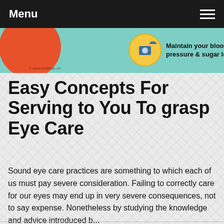Menu
[Figure (infographic): Health infographic banner with teal background, partial orange circle on left, yellow circle with camera/eye icon in center, text 'Maintain your blood pressure & sugar levels' on right. Watermark: www.medindia.net]
Easy Concepts For Serving to You To grasp Eye Care
Sound eye care practices are something to which each of us must pay severe consideration. Failing to correctly care for our eyes may end up in very severe consequences, not to say expense. Nonetheless by studying the knowledge and advice introduced b...
Read more